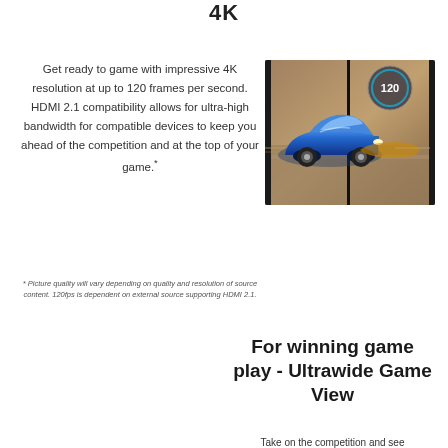4K
Get ready to game with impressive 4K resolution at up to 120 frames per second. HDMI 2.1 compatibility allows for ultra-high bandwidth for compatible devices to keep you ahead of the competition and at the top of your game.*
* Picture quality will vary depending on quality and resolution of source content. 120fps is dependent on external source supporting HDMI 2.1.
[Figure (photo): Blue sports car displayed on a TV/monitor screen with a speedometer graphic showing 120, set against a sandy/desert background. The image appears to be a product demonstration showing gaming visuals on a display.]
For winning game play - Ultrawide Game View
Take on the competition and see